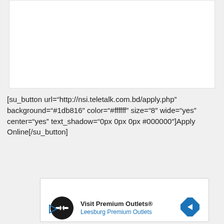[Figure (screenshot): White content box area at top of page]
[su_button url="http://nsi.teletalk.com.bd/apply.php" background="#1db816" color="#ffffff" size="8" wide="yes" center="yes" text_shadow="0px 0px 0px #000000"]Apply Online[/su_button]
[Figure (screenshot): Advertisement box showing Visit Premium Outlets with Leesburg Premium Outlets link, circular logo icon, navigation arrow icon, and play button icon]